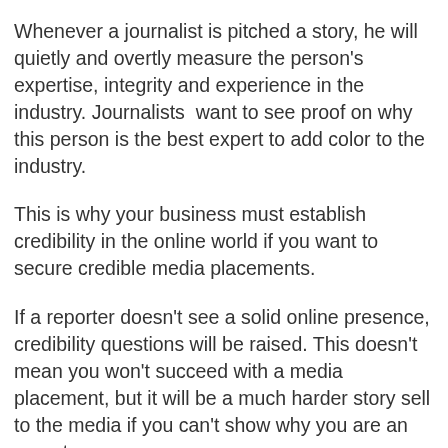Whenever a journalist is pitched a story, he will quietly and overtly measure the person's expertise, integrity and experience in the industry. Journalists  want to see proof on why this person is the best expert to add color to the industry.
This is why your business must establish credibility in the online world if you want to secure credible media placements.
If a reporter doesn't see a solid online presence, credibility questions will be raised. This doesn't mean you won't succeed with a media placement, but it will be a much harder story sell to the media if you can't show why you are an expert.
Here are a few questions to address and answer before you pursue media placements.